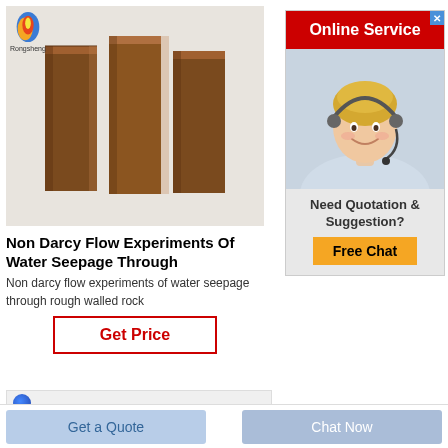[Figure (photo): Three brown rectangular stone/rock blocks standing upright, product photo for Non Darcy Flow experiment, with Rongsheng logo top-left]
Non Darcy Flow Experiments Of Water Seepage Through
Non darcy flow experiments of water seepage through rough walled rock
Get Price
[Figure (photo): Online Service banner with red header, photo of blonde woman with headset, Need Quotation & Suggestion section with Free Chat button]
Get a Quote
Chat Now